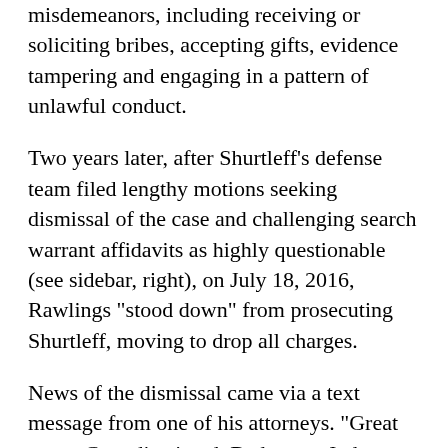misdemeanors, including receiving or soliciting bribes, accepting gifts, evidence tampering and engaging in a pattern of unlawful conduct.
Two years later, after Shurtleff's defense team filed lengthy motions seeking dismissal of the case and challenging search warrant affidavits as highly questionable (see sidebar, right), on July 18, 2016, Rawlings "stood down" from prosecuting Shurtleff, moving to drop all charges.
News of the dismissal came via a text message from one of his attorneys. "Great news. Case dismissed. Bad news. Judge granted the state's motion. Not ours." That was bad news because it meant Shurtleff would not receive attorneys' fees from the state, leaving him owing $800,000. Now he and his lawyers are in negotiations with the state over a settlement, with the possibility of a